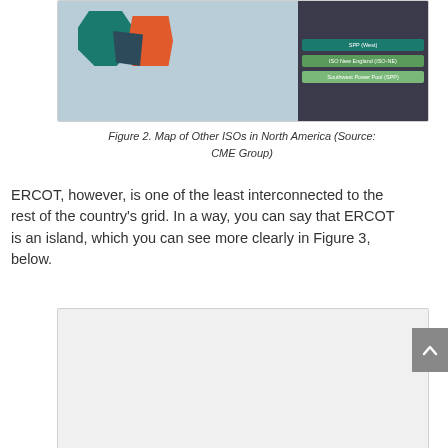[Figure (map): Partial view of a map showing ISOs in North America with colored regions (teal, orange, dark blue) and a legend panel on the right listing ISO New England (ISO-NE) and Southwest Power Pool (SPP)]
Figure 2. Map of Other ISOs in North America (Source: CME Group)
ERCOT, however, is one of the least interconnected to the rest of the country's grid. In a way, you can say that ERCOT is an island, which you can see more clearly in Figure 3, below.
[Figure (map): Partially visible figure box (Figure 3) showing a map, mostly cut off at the bottom of the page]